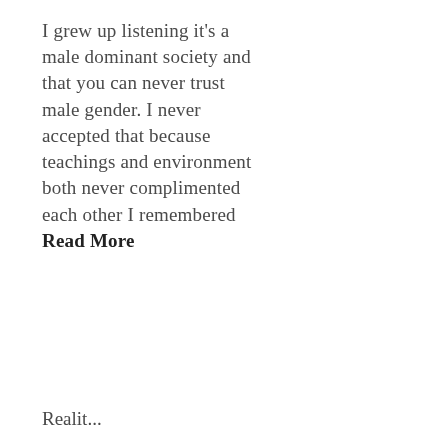I grew up listening it's a male dominant society and that you can never trust male gender. I never accepted that because teachings and environment both never complimented each other I remembered Read More
Realit...